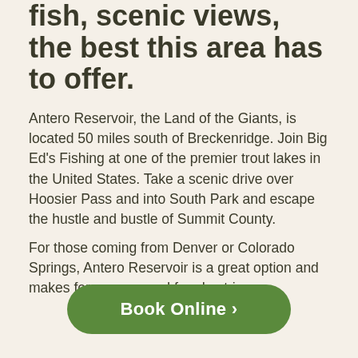fish, scenic views, the best this area has to offer.
Antero Reservoir, the Land of the Giants, is located 50 miles south of Breckenridge. Join Big Ed’s Fishing at one of the premier trout lakes in the United States. Take a scenic drive over Hoosier Pass and into South Park and escape the hustle and bustle of Summit County.
For those coming from Denver or Colorado Springs, Antero Reservoir is a great option and makes for an easy and fun day trip.
Book Online ›